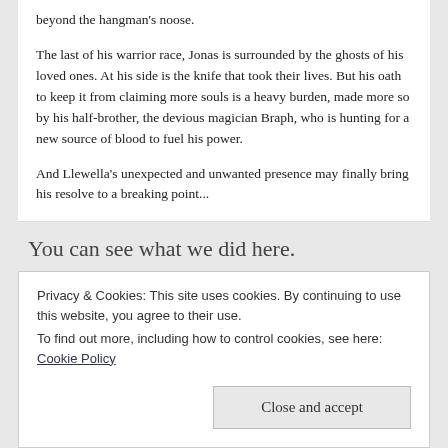beyond the hangman's noose.
The last of his warrior race, Jonas is surrounded by the ghosts of his loved ones. At his side is the knife that took their lives. But his oath to keep it from claiming more souls is a heavy burden, made more so by his half-brother, the devious magician Braph, who is hunting for a new source of blood to fuel his power.
And Llewella's unexpected and unwanted presence may finally bring his resolve to a breaking point...
You can see what we did here.
Conclusion:
The first element of dit...
Privacy & Cookies: This site uses cookies. By continuing to use this website, you agree to their use.
To find out more, including how to control cookies, see here: Cookie Policy
Close and accept